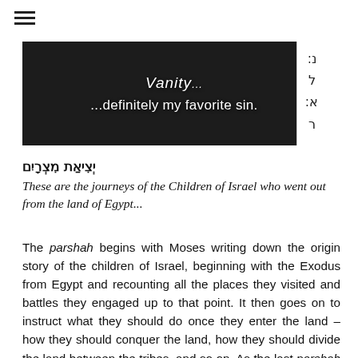≡
[Figure (photo): A person in a dark suit jacket with text overlay reading 'Vanity... ...definitely my favorite sin.']
יְצִיאַת מִצְרָיִם
These are the journeys of the Children of Israel who went out from the land of Egypt...
The parshah begins with Moses writing down the origin story of the children of Israel, beginning with the Exodus from Egypt and recounting all the places they visited and battles they engaged up to that point. It then goes on to instruct what they should do once they enter the land – how they should conquer the land, how they should divide the land between the tribes, and so on. As the last parshah leading into the last book of the Torah, it functions to give context and define the identity of the Israelites...